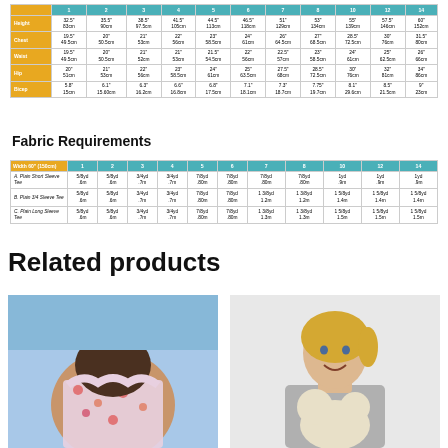|  | 1 | 2 | 3 | 4 | 5 | 6 | 7 | 8 | 10 | 12 | 14 |
| --- | --- | --- | --- | --- | --- | --- | --- | --- | --- | --- | --- |
| Height | 32.5"
83cm | 35.5"
90cm | 38.5"
97.5cm | 41.5"
105cm | 44.5"
113cm | 46.5"
118cm | 51"
129cm | 53"
134cm | 55"
135cm | 57.5"
146cm | 60"
152cm |
| Chest | 19.5"
49.5cm | 20"
50.5cm | 21"
53cm | 22"
56cm | 23"
58.5cm | 24"
61cm | 26"
64.5cm | 27"
68.5cm | 28.5"
72.5cm | 30"
76cm | 31.5"
80cm |
| Waist | 19.5"
49.5cm | 20"
50.5cm | 21"
52cm | 21"
53cm | 21.5"
54.5cm | 22"
56cm | 22.5"
57cm | 23"
58.5cm | 24"
61cm | 25"
62.5cm | 26"
66cm |
| Hip | 20"
51cm | 21"
53cm | 22"
56cm | 23"
58.5cm | 24"
61cm | 25"
63.5cm | 27.5"
68cm | 28.5"
72.5cm | 30"
76cm | 32"
81cm | 34"
86cm |
| Bicep | 5.8"
15cm | 6.1"
15.60cm | 6.3"
16.2cm | 6.6"
16.8cm | 6.8"
17.5cm | 7.1"
18.1cm | 7.3"
18.7cm | 7.75"
19.7cm | 8.1"
29.6cm | 8.5"
21.5cm | 9"
23cm |
Fabric Requirements
| Width 60" (150cm) | 1 | 2 | 3 | 4 | 5 | 6 | 7 | 8 | 10 | 12 | 14 |
| --- | --- | --- | --- | --- | --- | --- | --- | --- | --- | --- | --- |
| A. Plain Short Sleeve Tee | 5/8yd
.6m | 5/8yd
.6m | 3/4yd
.7m | 3/4yd
.7m | 7/8yd
.80m | 7/8yd
.80m | 7/8yd
.80m | 7/8yd
.80m | 1yd
.9m | 1yd
.9m | 1yd
.9m |
| B. Plain 3/4 Sleeve Tee | 5/8yd
.6m | 5/8yd
.6m | 3/4yd
.7m | 3/4yd
.7m | 7/8yd
.80m | 7/8yd
.80m | 1 3/8yd
1.2m | 1 3/8yd
1.2m | 1 5/8yd
1.4m | 1 5/8yd
1.4m | 1 5/8yd
1.4m |
| C. Plain Long Sleeve Tee | 5/8yd
.6m | 5/8yd
.6m | 3/4yd
.7m | 3/4yd
.7m | 7/8yd
.80m | 7/8yd
.80m | 1 3/8yd
1.3m | 1 3/8yd
1.3m | 1 5/8yd
1.5m | 1 5/8yd
1.5m | 1 5/8yd
1.5m |
Related products
[Figure (photo): Child wearing floral dress, viewed from back, outdoors]
[Figure (photo): Young girl smiling, wearing grey top, holding stuffed animal]